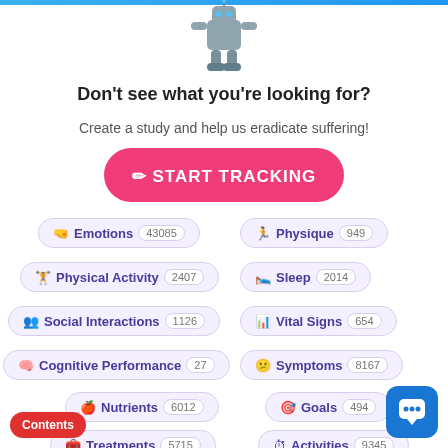[Figure (illustration): Robot character illustration at top of page]
Don't see what you're looking for?
Create a study and help us eradicate suffering!
[Figure (other): Pink START TRACKING button with pencil icon]
🤜 Emotions 43085
🏃 Physique 949
🏋 Physical Activity 2407
🛌 Sleep 2014
👥 Social Interactions 1126
📊 Vital Signs 654
🧠 Cognitive Performance 27
😕 Symptoms 8167
🍎 Nutrients 6012
🎯 Goals 494
🧰 Treatments 5715
⏱ Activities 9345